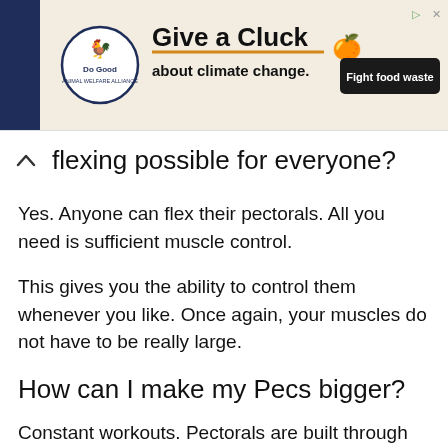[Figure (other): Advertisement banner for 'Do Good' brand: Give a Cluck about climate change. Fight food waste button.]
flexing possible for everyone?
Yes. Anyone can flex their pectorals. All you need is sufficient muscle control.
This gives you the ability to control them whenever you like. Once again, your muscles do not have to be really large.
How can I make my Pecs bigger?
Constant workouts. Pectorals are built through workouts. To get them bigger, you have to keep working out consistently while maintaining an appropriate diet for optimal